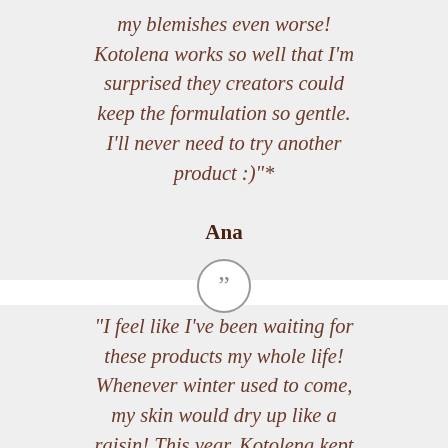my blemishes even worse! Kotolena works so well that I'm surprised they creators could keep the formulation so gentle. I'll never need to try another product :)"*
Ana
[Figure (illustration): Circular quotation mark icon with double closing quotation marks, gray outlined circle]
“I feel like I’ve been waiting for these products my whole life! Whenever winter used to come, my skin would dry up like a raisin! This year, Kotolena kept it hydrated and nourished. Take it from someone who’s